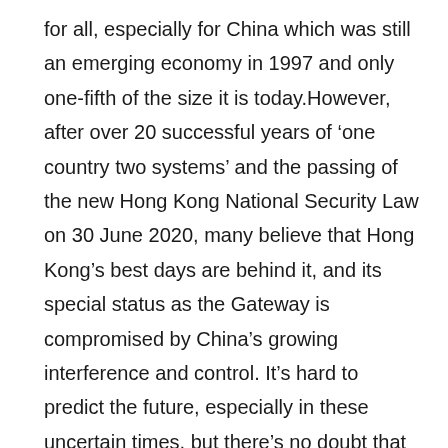for all, especially for China which was still an emerging economy in 1997 and only one-fifth of the size it is today.However, after over 20 successful years of ‘one country two systems’ and the passing of the new Hong Kong National Security Law on 30 June 2020, many believe that Hong Kong’s best days are behind it, and its special status as the Gateway is compromised by China’s growing interference and control. It’s hard to predict the future, especially in these uncertain times, but there’s no doubt that China has emerged as a strong economic force in its own right and that Hong Kong may soon become “just another Chinese city” as is feared by the media and politicians.Whatever the outcome, Hong Kong’s role as the Gateway is under threat. It’s time for